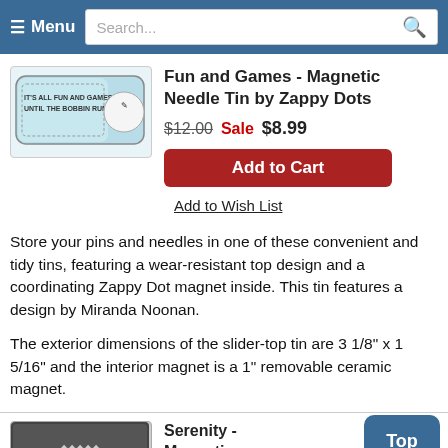≡ Menu  Search...
[Figure (photo): Fun and Games Magnetic Needle Tin product image showing a light blue slider tin with text 'It's all fun and games until the bobbin runs out' and a sewing illustration]
Fun and Games - Magnetic Needle Tin by Zappy Dots
$12.00 Sale $8.99
Add to Cart
Add to Wish List
Store your pins and needles in one of these convenient and tidy tins, featuring a wear-resistant top design and a coordinating Zappy Dot magnet inside. This tin features a design by Miranda Noonan.

The exterior dimensions of the slider-top tin are 3 1/8" x 1 5/16" and the interior magnet is a 1" removable ceramic magnet.
[Figure (photo): Serenity Magnetic Needle Tin product image showing dark patterned tin]
Serenity - Magnetic Needle Tin